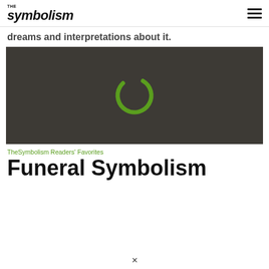THE symbolism
dreams and interpretations about it.
[Figure (screenshot): Dark video player with a green circular loading/spinner icon centered on a dark brownish-gray background]
TheSymbolism Readers' Favorites
Funeral Symbolism